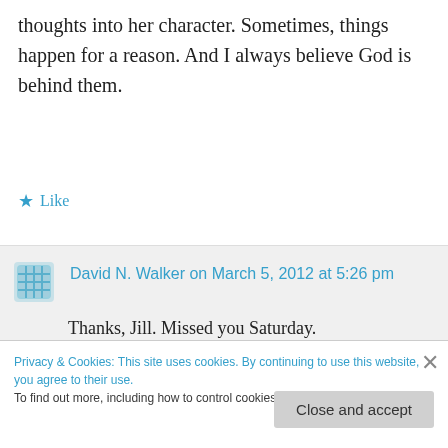thoughts into her character. Sometimes, things happen for a reason. And I always believe God is behind them.
★ Like
David N. Walker on March 5, 2012 at 5:26 pm
Thanks, Jill. Missed you Saturday.
★ Like
Privacy & Cookies: This site uses cookies. By continuing to use this website, you agree to their use.
To find out more, including how to control cookies, see here: Cookie Policy
Close and accept